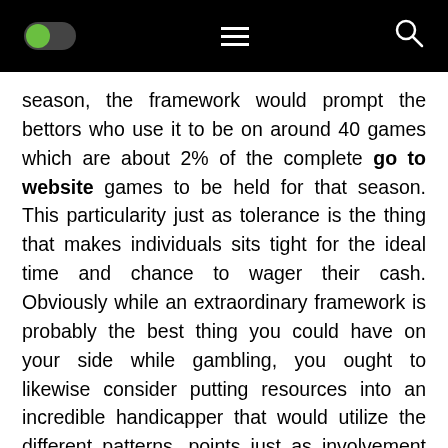Navigation bar with toggle, hamburger menu, and search icon
season, the framework would prompt the bettors who use it to be on around 40 games which are about 2% of the complete go to website games to be held for that season. This particularity just as tolerance is the thing that makes individuals sits tight for the ideal time and chance to wager their cash. Obviously while an extraordinary framework is probably the best thing you could have on your side while gambling, you ought to likewise consider putting resources into an incredible handicapper that would utilize the different patterns, points just as involvement with request to help bring you reliable successes and benefits at whatever you wager on baseball or different games for that